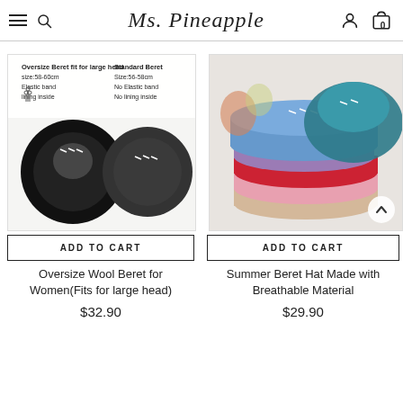Ms. Pineapple — navigation header with hamburger menu, search, user icon, cart (0)
[Figure (photo): Product image showing two black wool berets viewed from above, one labeled Oversize Beret fit for large head size 58-60cm with elastic band and lining inside, the other Standard Beret Size 56-58cm No Elastic band No lining inside]
ADD TO CART
Oversize Wool Beret for Women(Fits for large head)
$32.90
[Figure (photo): Product image showing a stack of colorful berets (blue, teal, red, pink, beige, purple) with a scroll-up button overlay]
ADD TO CART
Summer Beret Hat Made with Breathable Material
$29.90